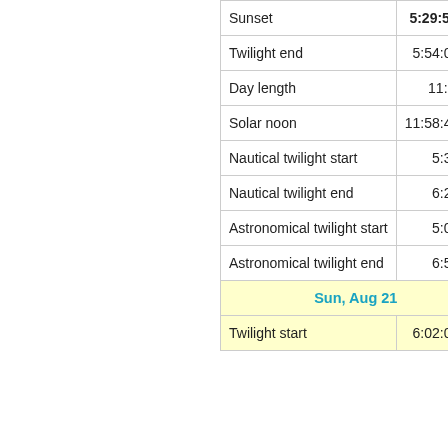| Sunset | 5:29:53 pm |
| Twilight end | 5:54:07 pm |
| Day length | 11:02:23 |
| Solar noon | 11:58:41 am |
| Nautical twilight start | 5:33 am |
| Nautical twilight end | 6:23 pm |
| Astronomical twilight start | 5:04 am |
| Astronomical twilight end | 6:52 pm |
| Sun, Aug 21 |  |
| Twilight start | 6:02:08 am |